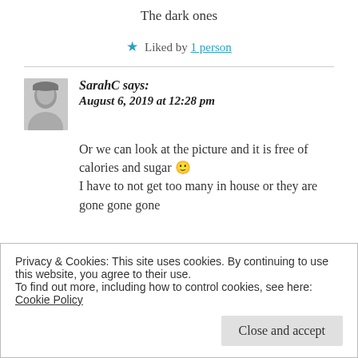The dark ones
★ Liked by 1 person
SarahC says:
August 6, 2019 at 12:28 pm
Or we can look at the picture and it is free of calories and sugar 🙂
I have to not get too many in house or they are gone gone gone
Privacy & Cookies: This site uses cookies. By continuing to use this website, you agree to their use.
To find out more, including how to control cookies, see here: Cookie Policy
[Close and accept]